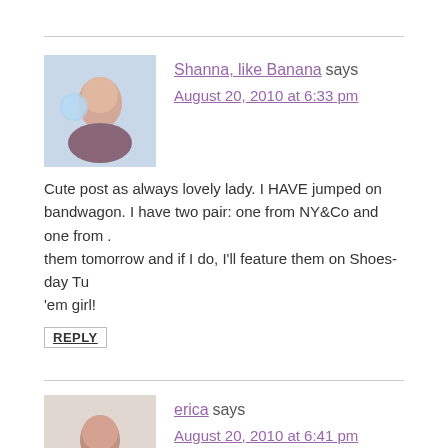Shanna, like Banana says
August 20, 2010 at 6:33 pm
Cute post as always lovely lady. I HAVE jumped on bandwagon. I have two pair: one from NY&Co and one from . them tomorrow and if I do, I'll feature them on Shoes-day Tu 'em girl!
REPLY
erica says
August 20, 2010 at 6:41 pm
I love leggings!!! I'll be riding that bandwagon til the